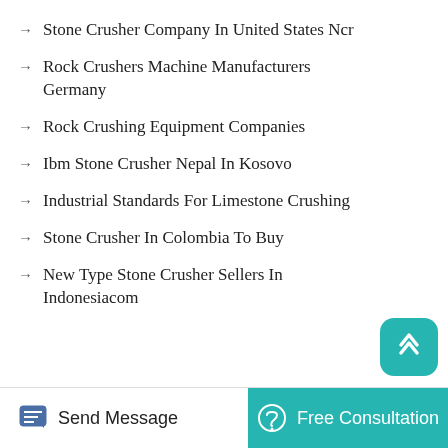Stone Crusher Company In United States Ncr
Rock Crushers Machine Manufacturers Germany
Rock Crushing Equipment Companies
Ibm Stone Crusher Nepal In Kosovo
Industrial Standards For Limestone Crushing
Stone Crusher In Colombia To Buy
New Type Stone Crusher Sellers In Indonesiacom
Send Message   Free Consultation